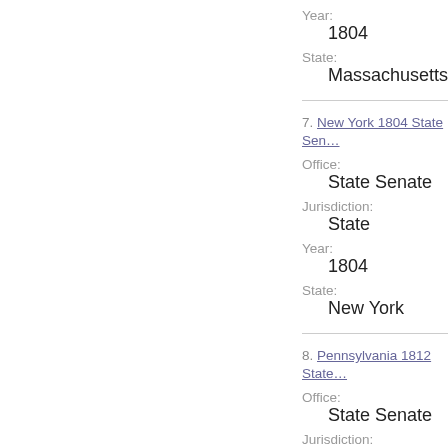Year:
1804
State:
Massachusetts
7. New York 1804 State Sen…
Office:
State Senate
Jurisdiction:
State
Year:
1804
State:
New York
8. Pennsylvania 1812 State…
Office:
State Senate
Jurisdiction:
State